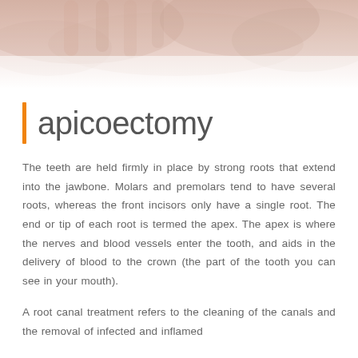[Figure (photo): Faded banner photo of a dental/medical scene with warm pink and peach tones at the top of the page]
apicoectomy
The teeth are held firmly in place by strong roots that extend into the jawbone. Molars and premolars tend to have several roots, whereas the front incisors only have a single root. The end or tip of each root is termed the apex. The apex is where the nerves and blood vessels enter the tooth, and aids in the delivery of blood to the crown (the part of the tooth you can see in your mouth).
A root canal treatment refers to the cleaning of the canals and the removal of infected and inflamed...